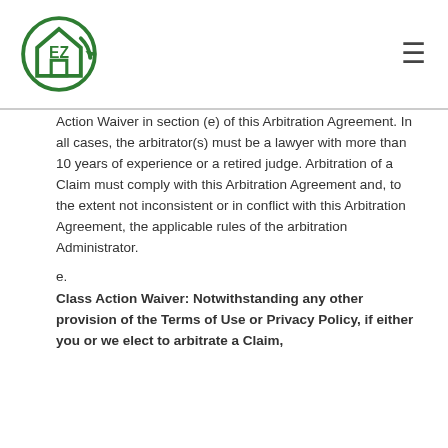EZ [logo]
Action Waiver in section (e) of this Arbitration Agreement. In all cases, the arbitrator(s) must be a lawyer with more than 10 years of experience or a retired judge. Arbitration of a Claim must comply with this Arbitration Agreement and, to the extent not inconsistent or in conflict with this Arbitration Agreement, the applicable rules of the arbitration Administrator.
e.
Class Action Waiver: Notwithstanding any other provision of the Terms of Use or Privacy Policy, if either you or we elect to arbitrate a Claim, neither you nor we will be the [continues]